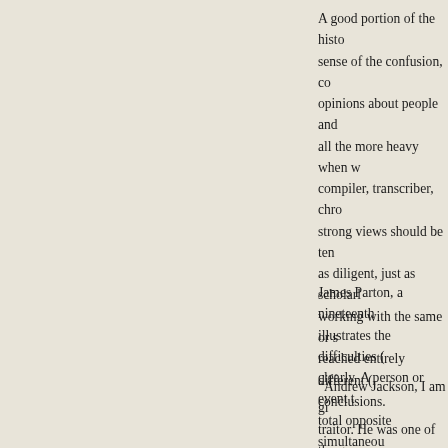A good portion of the histo sense of the confusion, co opinions about people and all the more heavy when w compiler, transcriber, chro strong views should be ten as diligent, just as scholar working with the same or s reached entirely different ( conclusions.
James Parton, a nineteenth illustrates the difficulties ( clearly. A person or event t total opposite simultaneou
“Andrew Jackson, I am gi traitor. He was one of the g ignorant of the art of war. A without being able to com of four syllables. The first never framed a measure. H